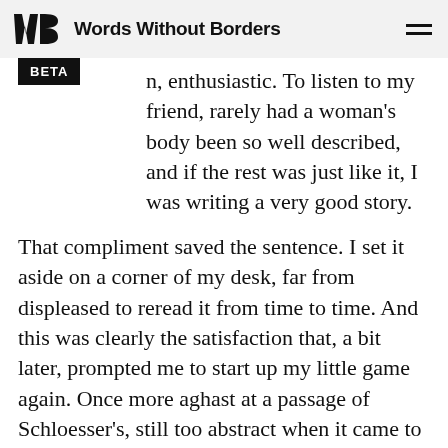Words Without Borders
n, enthusiastic. To listen to my friend, rarely had a woman's body been so well described, and if the rest was just like it, I was writing a very good story.
That compliment saved the sentence. I set it aside on a corner of my desk, far from displeased to reread it from time to time. And this was clearly the satisfaction that, a bit later, prompted me to start up my little game again. Once more aghast at a passage of Schloesser's, still too abstract when it came to women, I expressed what he wanted to say in a different way, always more embodied, sometimes taking up a few of his